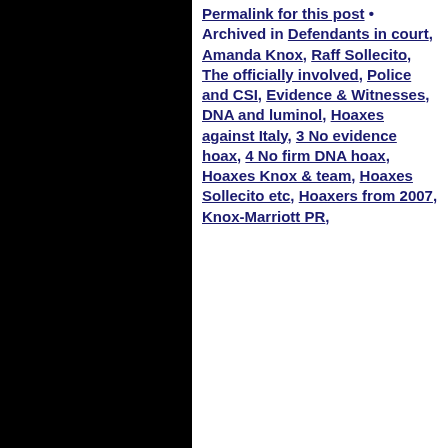[Figure (other): Black panel on the left half of the page]
Permalink for this post • Archived in Defendants in court, Amanda Knox, Raff Sollecito, The officially involved, Police and CSI, Evidence & Witnesses, DNA and luminol, Hoaxes against Italy, 3 No evidence hoax, 4 No firm DNA hoax, Hoaxes Knox & team, Hoaxes Sollecito etc, Hoaxers from 2007, Knox-Marriott PR,